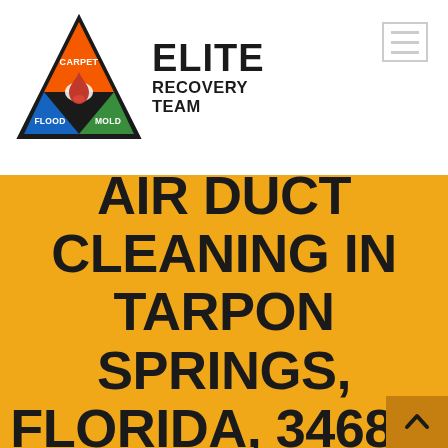[Figure (logo): Elite Recovery Team logo: a triangle divided into three colored sections (orange top with 'CARPET', blue bottom-left with 'FLOOD', green bottom-right with 'MOLD'), with a droplet/flame icon in the center. To the right: 'ELITE' in large bold black text, 'RECOVERY TEAM' below in bold black text.]
AIR DUCT CLEANING IN TARPON SPRINGS, FLORIDA, 34684,